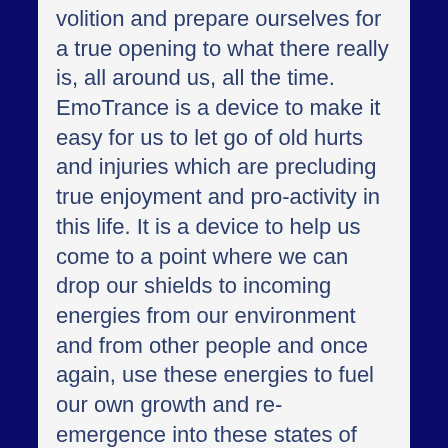volition and prepare ourselves for a true opening to what there really is, all around us, all the time. EmoTrance is a device to make it easy for us to let go of old hurts and injuries which are precluding true enjoyment and pro-activity in this life. It is a device to help us come to a point where we can drop our shields to incoming energies from our environment and from other people and once again, use these energies to fuel our own growth and re-emergence into these states of being that seemed as lost to us as paradise itself.
In the very act of using the device called EmoTrance, we are learning things about our energy bodies and our relationships with the energies of the universe that are often surprising, always healing in the most profound sense of the word and these learnings re-build the connections that were damaged or had shattered – including the connections within our own